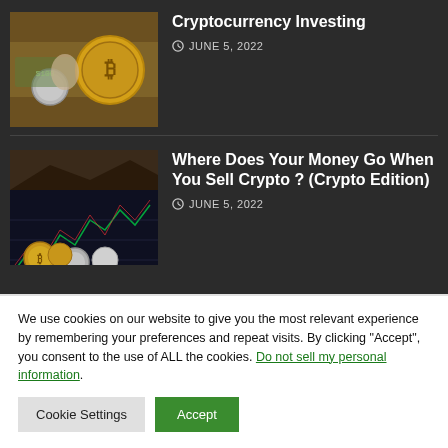[Figure (photo): Photo of Bitcoin gold coins on top of US dollar bills]
Cryptocurrency Investing
JUNE 5, 2022
[Figure (photo): Photo of various crypto coins with a stock chart on a screen in background]
Where Does Your Money Go When You Sell Crypto ? (Crypto Edition)
JUNE 5, 2022
We use cookies on our website to give you the most relevant experience by remembering your preferences and repeat visits. By clicking “Accept”, you consent to the use of ALL the cookies. Do not sell my personal information.
Cookie Settings
Accept